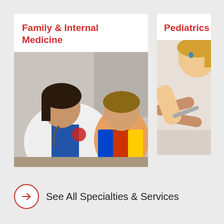Family & Internal Medicine
[Figure (photo): Female doctor in white coat with stethoscope leaning over a young boy in colorful superhero clothing, examining something together at a desk]
Pediatrics
[Figure (photo): Close-up of an adult's hands examining or treating a young blonde child's arm or hand]
See All Specialties & Services